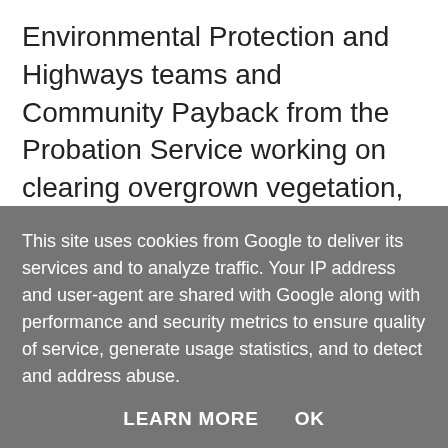Environmental Protection and Highways teams and Community Payback from the Probation Service working on clearing overgrown vegetation, trees, branches, graffiti and litter in Westminster Gardens and Elm Park Close.
[Figure (photo): Broken/unloaded image placeholder (small broken image icon)]
This site uses cookies from Google to deliver its services and to analyze traffic. Your IP address and user-agent are shared with Google along with performance and security metrics to ensure quality of service, generate usage statistics, and to detect and address abuse.
LEARN MORE   OK